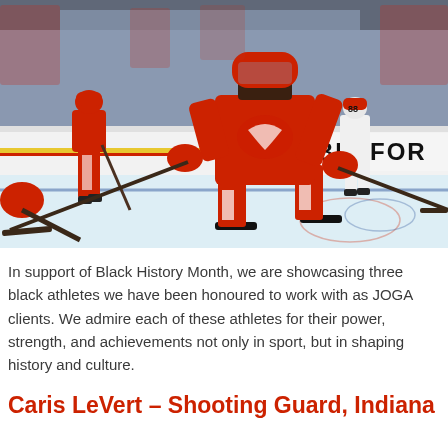[Figure (photo): Hockey players in red Detroit Red Wings uniforms skating on ice during practice or a game. Main player in foreground is in a skating stance with a hockey stick. Background shows arena boards with 'BELFOR' sponsor sign and a blue pillar. Other players visible in background.]
In support of Black History Month, we are showcasing three black athletes we have been honoured to work with as JOGA clients. We admire each of these athletes for their power, strength, and achievements not only in sport, but in shaping history and culture.
Caris LeVert – Shooting Guard, Indiana